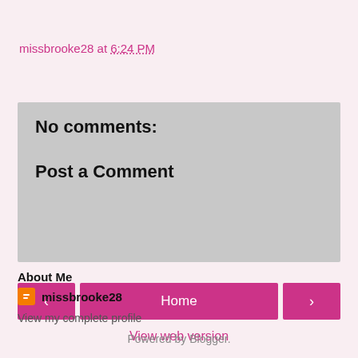missbrooke28 at 6:24 PM
Share
No comments:
Post a Comment
< Home >
View web version
About Me
missbrooke28
View my complete profile
Powered by Blogger.